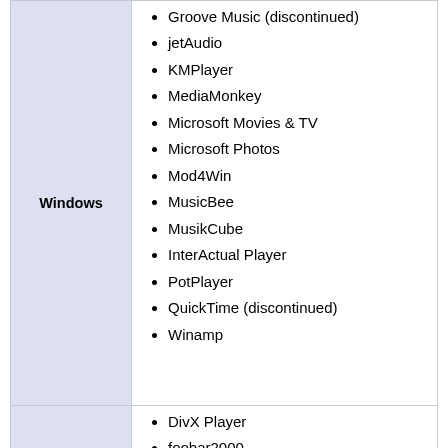Groove Music (discontinued)
jetAudio
KMPlayer
MediaMonkey
Microsoft Movies & TV
Microsoft Photos
Mod4Win
MusicBee
MusikCube
InterActual Player
PotPlayer
QuickTime (discontinued)
Winamp
DivX Player
foobar2000
iTunes
Plex